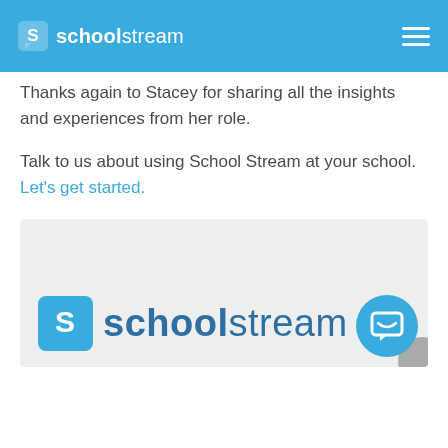schoolstream
Thanks again to Stacey for sharing all the insights and experiences from her role.
Talk to us about using School Stream at your school. Let's get started.
[Figure (logo): School Stream logo on light gray background with chat bubble icon in blue circle at bottom right]